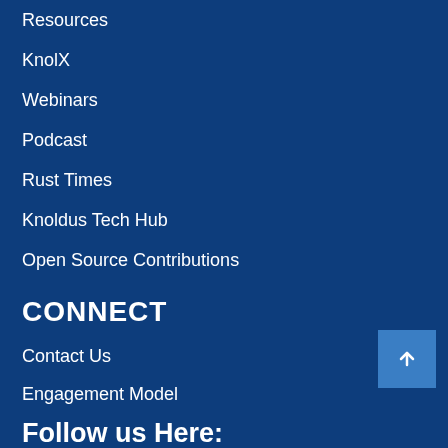Resources
KnolX
Webinars
Podcast
Rust Times
Knoldus Tech Hub
Open Source Contributions
CONNECT
Contact Us
Engagement Model
Follow us Here: